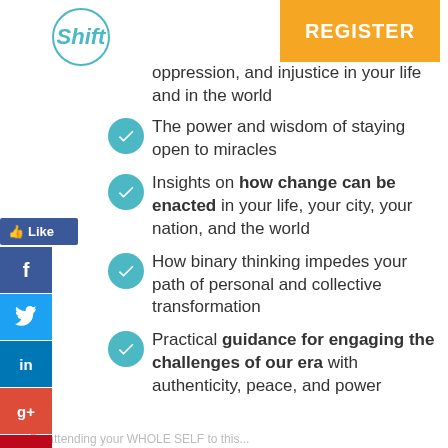Shift | REGISTER
oppression, and injustice in your life and in the world
The power and wisdom of staying open to miracles
Insights on how change can be enacted in your life, your city, your nation, and the world
How binary thinking impedes your path of personal and collective transformation
Practical guidance for engaging the challenges of our era with authenticity, peace, and power
By attending your WHOLE SELF to this...